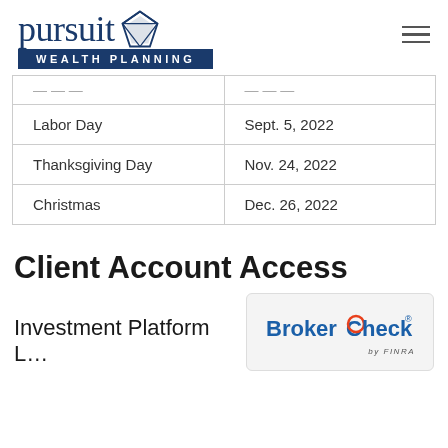Pursuit Wealth Planning
| Holiday | Date |
| --- | --- |
| Labor Day | Sept. 5, 2022 |
| Thanksgiving Day | Nov. 24, 2022 |
| Christmas | Dec. 26, 2022 |
Client Account Access
Investment Platform L…
[Figure (logo): BrokerCheck by FINRA logo badge]